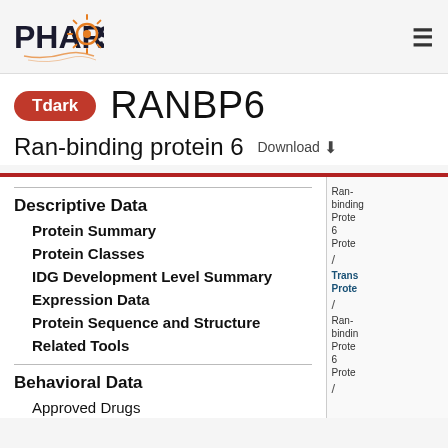PHAROS
RANBP6
Tdark
Ran-binding protein 6  Download
Descriptive Data
Protein Summary
Protein Classes
IDG Development Level Summary
Expression Data
Protein Sequence and Structure
Related Tools
Behavioral Data
Approved Drugs
Ran-binding Protein 6 Protein / Transcription Factor Protein / Ran-binding Protein 6 Protein /